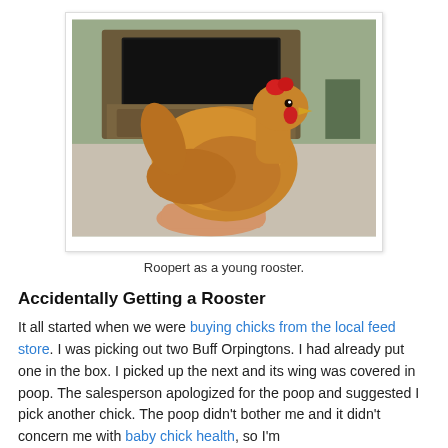[Figure (photo): A golden-buff colored chicken (young rooster named Roopert) being held in a person's hand indoors, with a wooden entertainment center and TV visible in the background.]
Roopert as a young rooster.
Accidentally Getting a Rooster
It all started when we were buying chicks from the local feed store. I was picking out two Buff Orpingtons. I had already put one in the box. I picked up the next and its wing was covered in poop. The salesperson apologized for the poop and suggested I pick another chick. The poop didn't bother me and it didn't concern me with baby chick health, so I'm